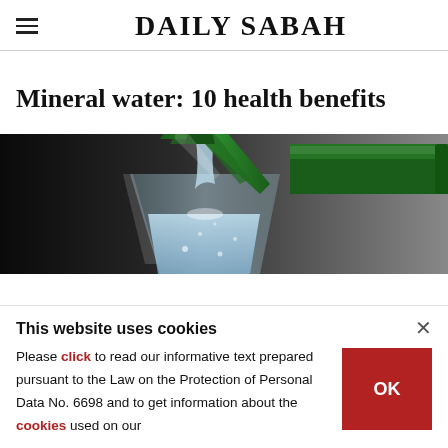DAILY SABAH
Mineral water: 10 health benefits
[Figure (photo): Green glass bottle pouring sparkling water into a glass, close-up shot on dark background]
This website uses cookies
Please click to read our informative text prepared pursuant to the Law on the Protection of Personal Data No. 6698 and to get information about the cookies used on our